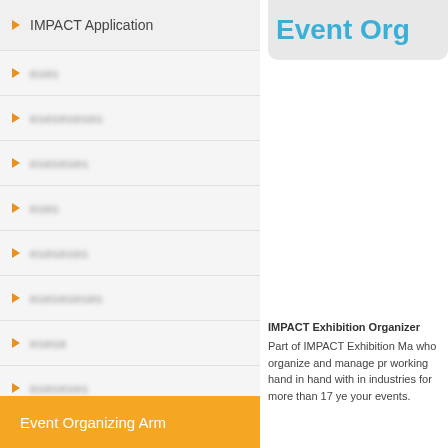IMPACT Application
[blurred text]
[blurred text]
[blurred text]
[blurred text]
[blurred text]
[blurred text]
[blurred text]
[blurred text]
Event Organizing Arm
Event Org
IMPACT Exhibition Organizer
Part of IMPACT Exhibition Ma who organize and manage pr working hand in hand with in industries for more than 17 ye your events.